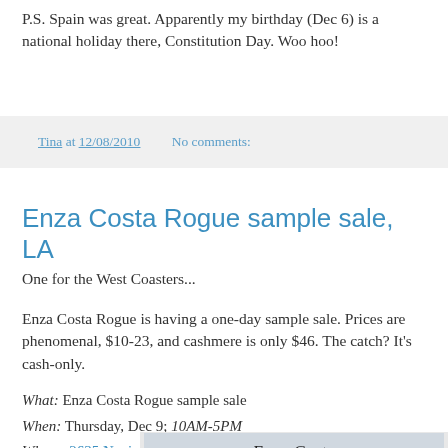P.S. Spain was great. Apparently my birthday (Dec 6) is a national holiday there, Constitution Day. Woo hoo!
Tina at 12/08/2010   No comments:
Enza Costa Rogue sample sale, LA
One for the West Coasters...
Enza Costa Rogue is having a one-day sample sale. Prices are phenomenal, $10-23, and cashmere is only $46. The catch? It's cash-only.
What: Enza Costa Rogue sample sale
When: Thursday, Dec 9; 10AM-5PM
Where: 2635 Nevin Ave, Los Angeles 90011
[Figure (photo): Photo showing Enza Costa Rogue branding/logo with a model]